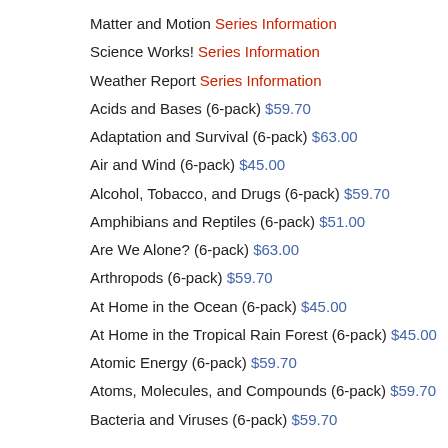Matter and Motion Series Information
Science Works! Series Information
Weather Report Series Information
Acids and Bases (6-pack) $59.70
Adaptation and Survival (6-pack) $63.00
Air and Wind (6-pack) $45.00
Alcohol, Tobacco, and Drugs (6-pack) $59.70
Amphibians and Reptiles (6-pack) $51.00
Are We Alone? (6-pack) $63.00
Arthropods (6-pack) $59.70
At Home in the Ocean (6-pack) $45.00
At Home in the Tropical Rain Forest (6-pack) $45.00
Atomic Energy (6-pack) $59.70
Atoms, Molecules, and Compounds (6-pack) $59.70
Bacteria and Viruses (6-pack) $59.70